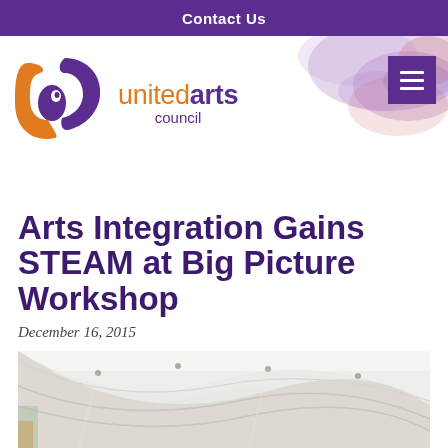Contact Us
[Figure (logo): United Arts Council logo with orange and purple interlocking U shapes and text 'united arts council']
Arts Integration Gains STEAM at Big Picture Workshop
December 16, 2015
[Figure (photo): Interior of a building with white curved ceiling panels and track lighting, looking upward]